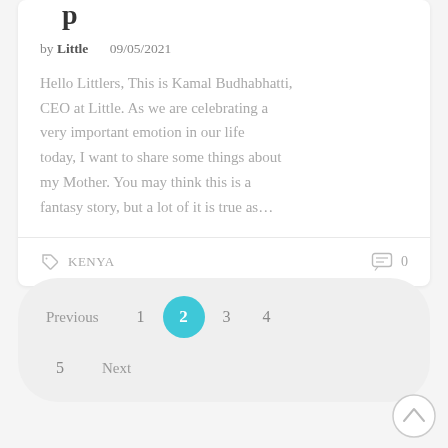p
by Little    09/05/2021
Hello Littlers, This is Kamal Budhabhatti, CEO at Little. As we are celebrating a very important emotion in our life today, I want to share some things about my Mother. You may think this is a fantasy story, but a lot of it is true as…
KENYA    0
Previous  1  2  3  4  5  Next